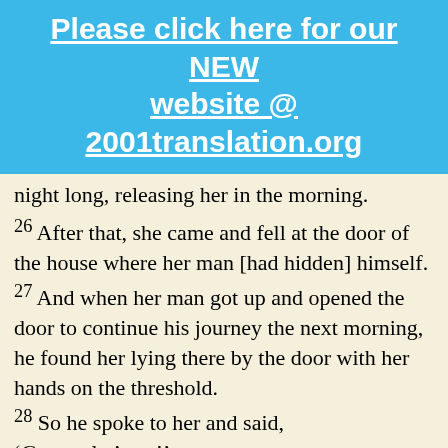Please click here for our NEW website @ 2001translation.org
night long, releasing her in the morning.
26 After that, she came and fell at the door of the house where her man [had hidden] himself.
27 And when her man got up and opened the door to continue his journey the next morning, he found her lying there by the door with her hands on the threshold.
28 So he spoke to her and said, ‘Get up, let’s go!’ But she didn’t answer, because she was dead. Then he lifted [her body] onto his burro and he returned home.
29 Well, [when he got home], he took his sword and cut his concubine’s body into twelve pieces and sent...